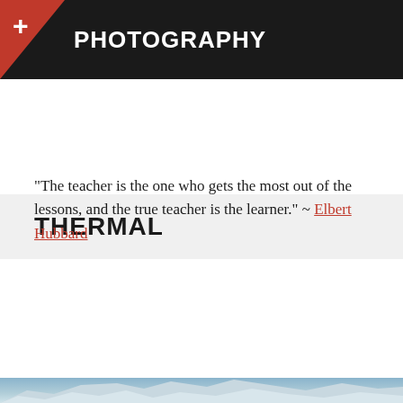+ PHOTOGRAPHY
THERMAL
“The teacher is the one who gets the most out of the lessons, and the true teacher is the learner.” ~ Elbert Hubbard
Privacy & Cookies: This site uses cookies. By continuing to use this website, you agree to their use.
To find out more, including how to control cookies, see here: Cookie Policy
Close and accept
[Figure (photo): Mountain landscape strip at the bottom of the page]